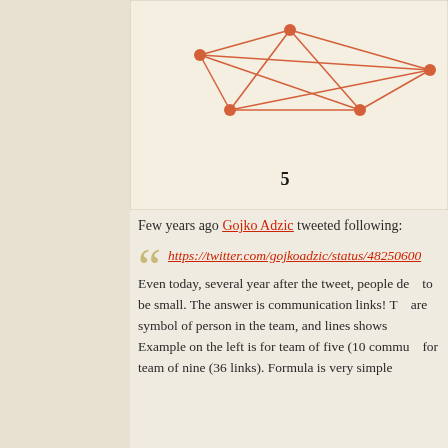[Figure (network-graph): Partial network graph showing orange nodes connected by orange lines, partially visible at top of page, with number 5 below it]
Few years ago Gojko Adzic tweeted following:
https://twitter.com/gojkoadzic/status/48250600...
Even today, several year after the tweet, people de... to be small. The answer is communication links! T... are symbol of person in the team, and lines shows... Example on the left is for team of five (10 commu... for team of nine (36 links). Formula is very simple...